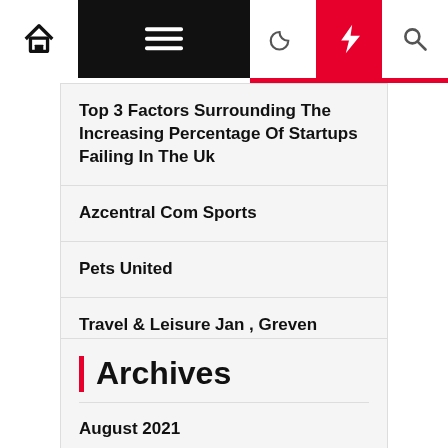Navigation bar with home, menu, moon, lightning, search icons
Top 3 Factors Surrounding The Increasing Percentage Of Startups Failing In The Uk
Azcentral Com Sports
Pets United
Travel & Leisure Jan , Greven Germany
Girls's Clothes
Archives
August 2021
July 2021